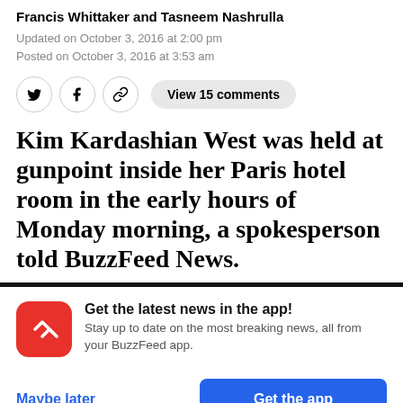Francis Whittaker and Tasneem Nashrulla
Updated on October 3, 2016 at 2:00 pm
Posted on October 3, 2016 at 3:53 am
View 15 comments
Kim Kardashian West was held at gunpoint inside her Paris hotel room in the early hours of Monday morning, a spokesperson told BuzzFeed News.
Get the latest news in the app! Stay up to date on the most breaking news, all from your BuzzFeed app.
Maybe later
Get the app